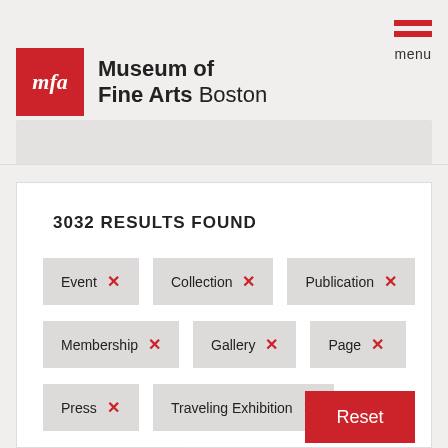[Figure (logo): Museum of Fine Arts Boston logo with red MFA square and text]
Museum of Fine Arts Boston
3032 RESULTS FOUND
Event ×
Collection ×
Publication ×
Membership ×
Gallery ×
Page ×
Press ×
Traveling Exhibition ×
Employment ×
Reset